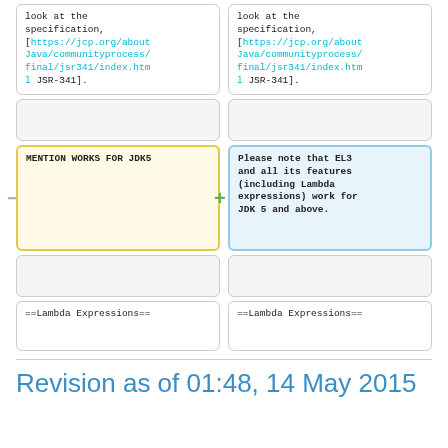look at the specification, [https://jcp.org/aboutJava/communityprocess/final/jsr341/index.html JSR-341].
look at the specification, [https://jcp.org/aboutJava/communityprocess/final/jsr341/index.html JSR-341].
MENTION WORKS FOR JDK5
Please note that EL3 and all its features (including Lambda expressions) work for JDK 5 and above.
==Lambda Expressions==
==Lambda Expressions==
Revision as of 01:48, 14 May 2015